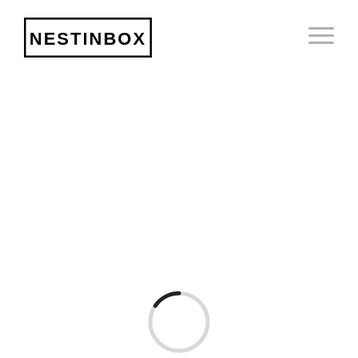[Figure (logo): NESTINBOX logo: text in a rectangular border, bold sans-serif uppercase letters]
[Figure (other): Hamburger menu icon (three horizontal lines) in light gray, top right corner]
[Figure (other): Circular loading spinner: a ring with a small dark arc segment at the top-left, rest light gray, centered near bottom of page]